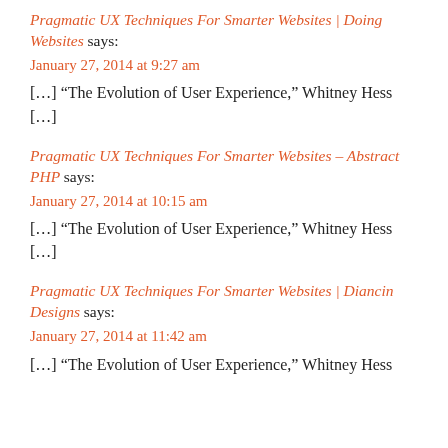Pragmatic UX Techniques For Smarter Websites | Doing Websites says:
January 27, 2014 at 9:27 am
[…] “The Evolution of User Experience,” Whitney Hess […]
Pragmatic UX Techniques For Smarter Websites – Abstract PHP says:
January 27, 2014 at 10:15 am
[…] “The Evolution of User Experience,” Whitney Hess […]
Pragmatic UX Techniques For Smarter Websites | Diancin Designs says:
January 27, 2014 at 11:42 am
[…] “The Evolution of User Experience,” Whitney Hess